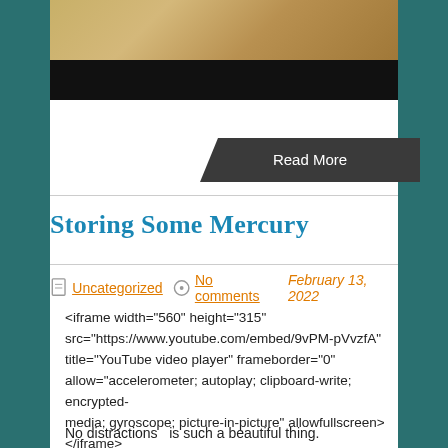[Figure (photo): Top portion of image showing sandy/rocky ground texture above a black bar]
Read More
Storing Some Mercury
Uncategorized   No comments   February 13, 2022
<iframe width="560" height="315" src="https://www.youtube.com/embed/9vPM-pVvzfA" title="YouTube video player" frameborder="0" allow="accelerometer; autoplay; clipboard-write; encrypted-media; gyroscope; picture-in-picture" allowfullscreen></iframe>
No distractions  is such a beautiful thing.